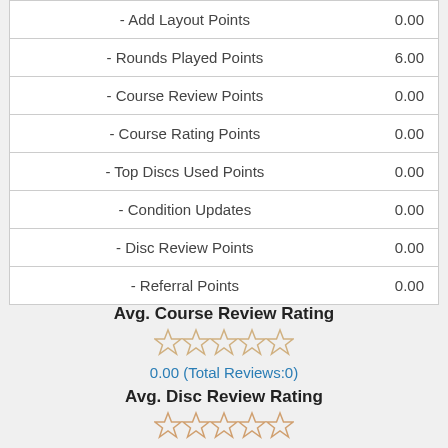| Label | Value |
| --- | --- |
| - Add Layout Points | 0.00 |
| - Rounds Played Points | 6.00 |
| - Course Review Points | 0.00 |
| - Course Rating Points | 0.00 |
| - Top Discs Used Points | 0.00 |
| - Condition Updates | 0.00 |
| - Disc Review Points | 0.00 |
| - Referral Points | 0.00 |
Avg. Course Review Rating
[Figure (other): 5 empty star icons representing course review rating]
0.00 (Total Reviews:0)
Avg. Disc Review Rating
[Figure (other): 5 empty star icons representing disc review rating]
0.00 (Total Reviews:0)